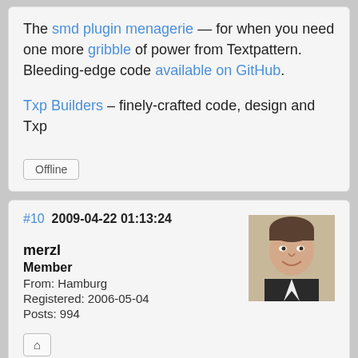The smd plugin menagerie — for when you need one more gribble of power from Textpattern. Bleeding-edge code available on GitHub.
Txp Builders – finely-crafted code, design and Txp
Offline
#10  2009-04-22 01:13:24
merzl
Member
From: Hamburg
Registered: 2006-05-04
Posts: 994